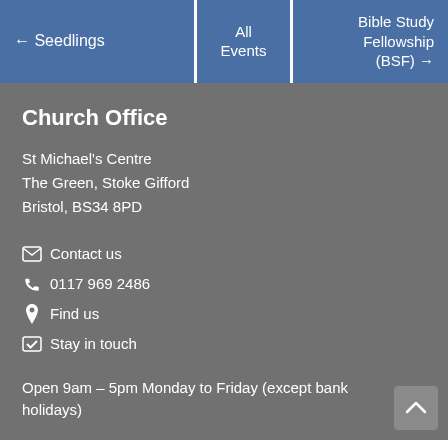← Seedlings | All Events | Bible Study Fellowship (BSF) →
Church Office
St Michael's Centre
The Green, Stoke Gifford
Bristol, BS34 8PD
✉ Contact us
☎ 0117 969 2486
📍 Find us
✔ Stay in touch
Open 9am – 5pm Monday to Friday (except bank holidays)